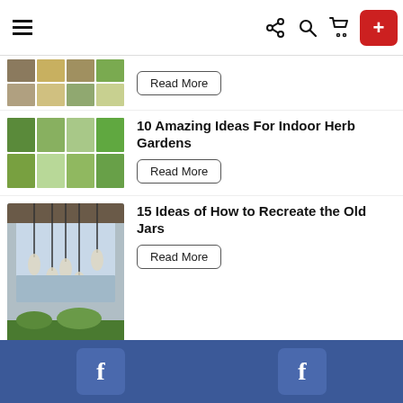Navigation bar with hamburger menu, share, search, cart icons and add button
[Figure (photo): Partial article thumbnail grid at top (cropped)]
Read More
10 Amazing Ideas For Indoor Herb Gardens
Read More
15 Ideas of How to Recreate the Old Jars
[Figure (photo): Photo of hanging jar pendant lights over a window with a water view]
Read More
15 DIY Projects to Make a Serving Tray
[Figure (photo): Thumbnail grid of serving tray DIY projects]
Read More
Facebook social sharing bar with two Facebook buttons